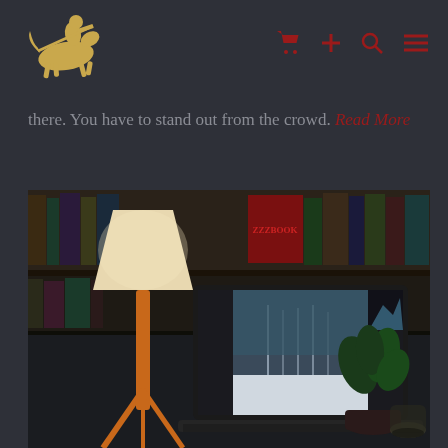[Figure (logo): Golden knight on horseback logo (jousting knight silhouette in gold/yellow)]
there. You have to stand out from the crowd. Read More
[Figure (photo): Photo of a laptop on a desk showing photo editing software (Lightroom) with a winter landscape image. Behind the laptop are bookshelves with books, a lamp, a plant, and a glass jar. An orange tripod lamp is in the foreground.]